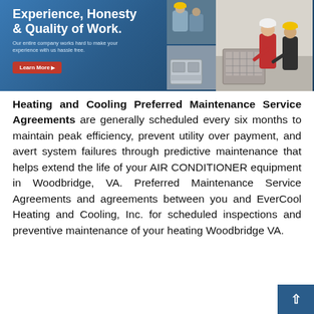[Figure (photo): Banner image for HVAC company showing text 'Experience, Honesty & Quality of Work.' with tagline 'Our entire company works hard to make your experience with us hassle free.' and a red 'Learn More' button, alongside photo collage of HVAC technicians working on air conditioning equipment]
Heating and Cooling Preferred Maintenance Service Agreements are generally scheduled every six months to maintain peak efficiency, prevent utility over payment, and avert system failures through predictive maintenance that helps extend the life of your AIR CONDITIONER equipment in Woodbridge, VA. Preferred Maintenance Service Agreements and agreements between you and EverCool Heating and Cooling, Inc. for scheduled inspections and preventive maintenance of your heating Woodbridge VA.